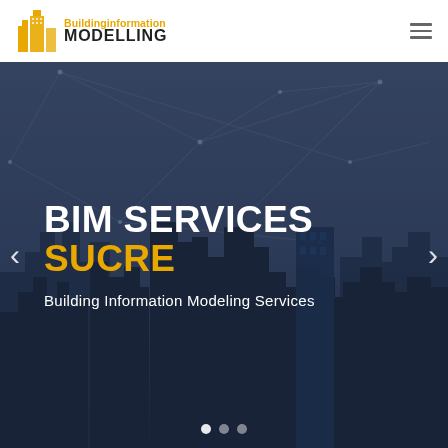[Figure (logo): Building Information Modelling logo with yellow building icon and text]
[Figure (photo): Hero banner with city skyline at dusk with overlaid network lines, dark blue toned]
BIM SERVICES SUCRE
Building Information Modeling Services